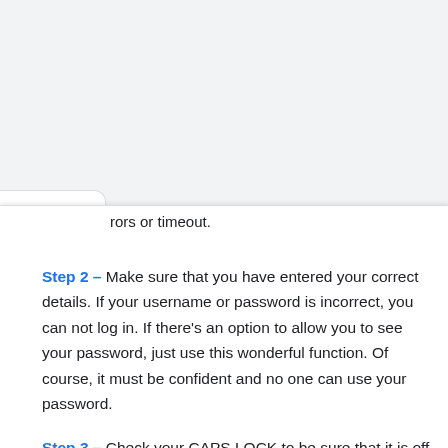rors or timeout.
Step 2 – Make sure that you have entered your correct details. If your username or password is incorrect, you can not log in. If there's an option to allow you to see your password, just use this wonderful function. Of course, it must be confident and no one can use your password.
Step 3 – Check your CAPS LOCK to be sure that it is off.
Step 4 – If you still can't access the site, clear your cache and cookies or open the incognito mode. Here are the guidelines available that may help you with the most popular browsers.